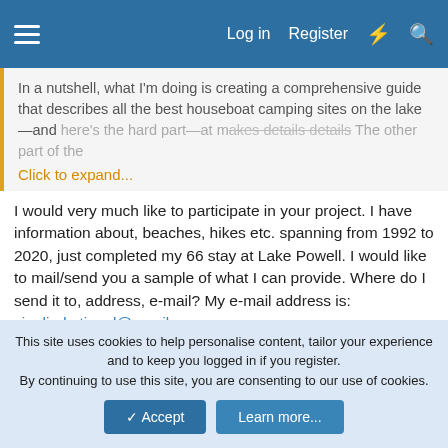Log in  Register
In a nutshell, what I'm doing is creating a comprehensive guide that describes all the best houseboat camping sites on the lake—and here's the hard part—at m… Click to expand...
I would very much like to participate in your project. I have information about, beaches, hikes etc. spanning from 1992 to 2020, just completed my 66 stay at Lake Powell. I would like to mail/send you a sample of what I can provide. Where do I send it to, address, e-mail? My e-mail address is: sieglinde.tippel@gmail.com
Attachments
[Figure (photo): Landscape photo showing red rock formations under a blue cloudy sky, typical of Lake Powell area.]
This site uses cookies to help personalise content, tailor your experience and to keep you logged in if you register.
By continuing to use this site, you are consenting to our use of cookies.